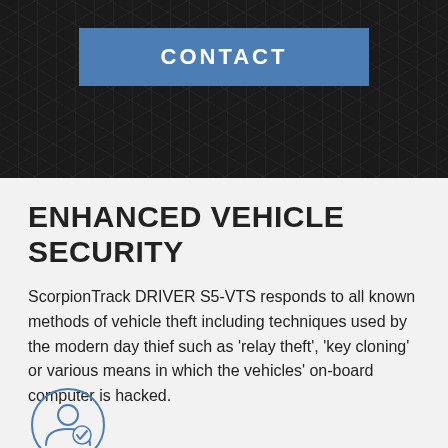CONTACT
ENHANCED VEHICLE SECURITY
ScorpionTrack DRIVER S5-VTS responds to all known methods of vehicle theft including techniques used by the modern day thief such as 'relay theft', 'key cloning' or various means in which the vehicles' on-board computer is hacked.
[Figure (illustration): Circle icon containing a person/user silhouette with a checkmark badge, drawn in blue outline style]